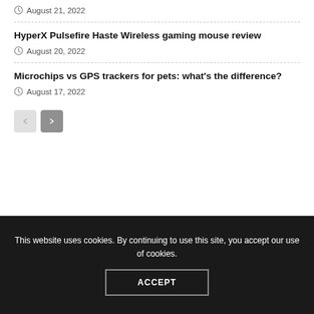August 21, 2022
HyperX Pulsefire Haste Wireless gaming mouse review
August 20, 2022
Microchips vs GPS trackers for pets: what's the difference?
August 17, 2022
Latest News
This website uses cookies. By continuing to use this site, you accept our use of cookies.
ACCEPT